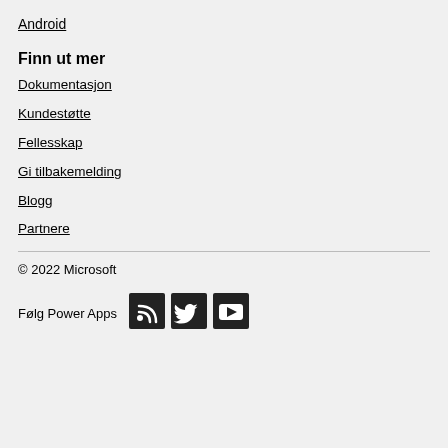Android
Finn ut mer
Dokumentasjon
Kundestøtte
Fellesskap
Gi tilbakemelding
Blogg
Partnere
© 2022 Microsoft
Følg Power Apps
[Figure (logo): RSS feed icon (white RSS symbol on dark background)]
[Figure (logo): Twitter bird icon (white Twitter bird on dark background)]
[Figure (logo): YouTube play button icon (white play symbol on dark background)]